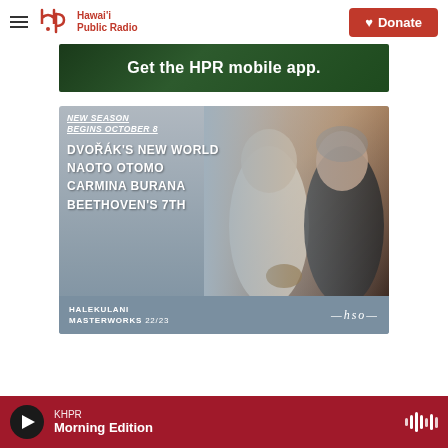Hawai'i Public Radio — navigation bar with Donate button
[Figure (screenshot): HPR mobile app promotional banner with dark green background and white text: 'Get the HPR mobile app.']
[Figure (photo): Halekulani Masterworks 22/23 concert season advertisement. Text reads: NEW SEASON BEGINS OCTOBER 8, DVOŘÁK'S NEW WORLD, NAOTO OTOMO, CARMINA BURANA, BEETHOVEN'S 7TH. Shows two musicians. Footer: HALEKULANI MASTERWORKS 22/23 with HSO logo.]
KHPR — Morning Edition (audio player bar)